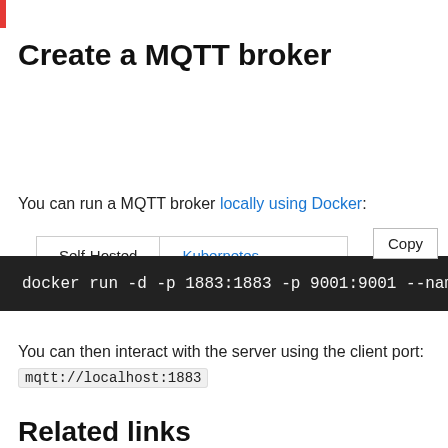Create a MQTT broker
Self-Hosted | Kubernetes (tabs)
You can run a MQTT broker locally using Docker:
[Figure (screenshot): Code block showing: docker run -d -p 1883:1883 -p 9001:9001 --name m]
You can then interact with the server using the client port: mqtt://localhost:1883
Related links